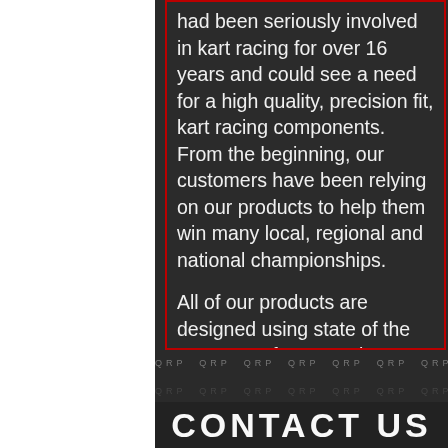had been seriously involved in kart racing for over 16 years and could see a need for a high quality, precision fit, kart racing components. From the beginning, our customers have been relying on our products to help them win many local, regional and national championships.
All of our products are designed using state of the art CAD software and optimized for maximum performance and reliability. We never compromise when it comes to the quality and the workmanship we design into all of our products. Ask anyone who has used them, and we are sure they will agree, that Odenthal products really are the best that money can buy!
CONTACT US